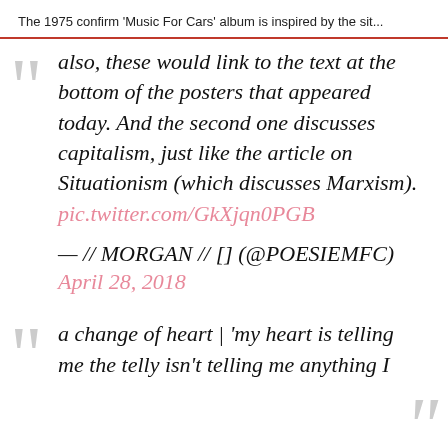The 1975 confirm 'Music For Cars' album is inspired by the sit...
also, these would link to the text at the bottom of the posters that appeared today. And the second one discusses capitalism, just like the article on Situationism (which discusses Marxism). pic.twitter.com/GkXjqn0PGB
— // MORGAN // [] (@POESIEMFC)
April 28, 2018
a change of heart | 'my heart is telling me the telly isn't telling me anything I